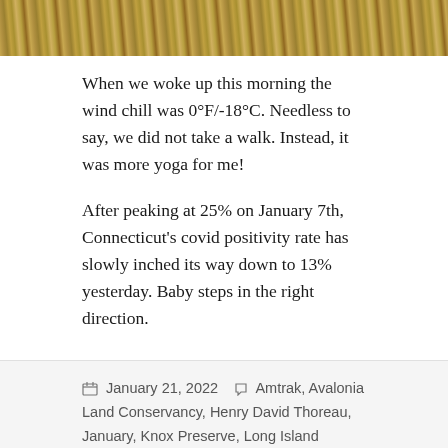[Figure (photo): Top strip of a nature photo showing dried grass and earth tones in brown and golden colors]
When we woke up this morning the wind chill was 0°F/-18°C. Needless to say, we did not take a walk. Instead, it was more yoga for me!
After peaking at 25% on January 7th, Connecticut's covid positivity rate has slowly inched its way down to 13% yesterday. Baby steps in the right direction.
January 21, 2022  Amtrak, Avalonia Land Conservancy, Henry David Thoreau, January, Knox Preserve, Long Island Sound, Quiambog Cove, Ralph Waldo Emerson, Tim  birdhouses, bridge, by the sea, coves, energy, fence, in the woods, knoll, land, light, magic, pandemic, perception, preserves, railroad tracks, reindeer moss, salt meadows, shadow, stone wall, stones, sun, trails, train, walking, water, winter  34 Comments
a thing made of holes